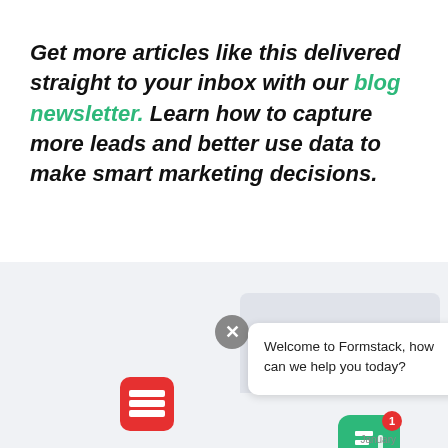Get more articles like this delivered straight to your inbox with our blog newsletter. Learn how to capture more leads and better use data to make smart marketing decisions.
[Figure (screenshot): Chat widget screenshot showing a Formstack live chat popup with message 'Welcome to Formstack, how can we help you today?', a close button, a red icon on the left, and the green Formstack icon with notification badge on the right. Bottom shows partial graph with 'January' label.]